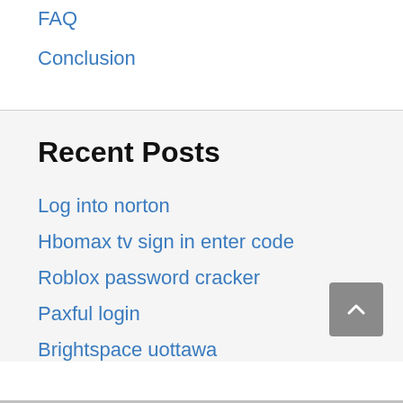FAQ
Conclusion
Recent Posts
Log into norton
Hbomax tv sign in enter code
Roblox password cracker
Paxful login
Brightspace uottawa